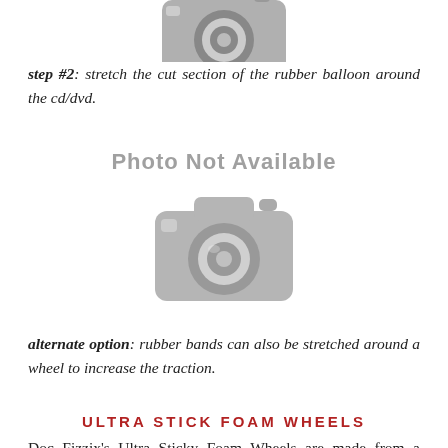[Figure (photo): Photo Not Available placeholder with camera icon at top of page (partially visible)]
step #2: stretch the cut section of the rubber balloon around the cd/dvd.
[Figure (photo): Photo Not Available placeholder with camera icon and 'Photo Not Available' text]
alternate option: rubber bands can also be stretched around a wheel to increase the traction.
ULTRA STICK FOAM WHEELS
Doc Fizzix's Ultra Sticky Foam Wheels are made from a lightweight urethane that is specially designed to grab the road and provide maximum traction for maximum acceleration and stopping. While the rest of